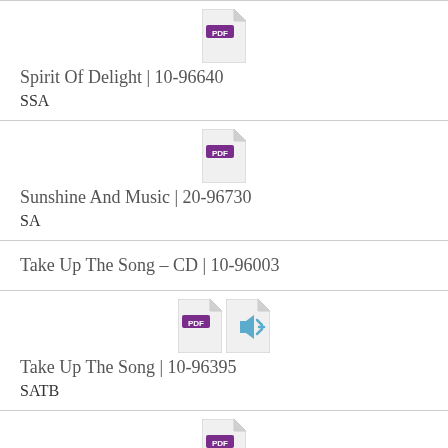Spirit Of Delight | 10-96640
SSA
Sunshine And Music | 20-96730
SA
Take Up The Song - CD | 10-96003
Take Up The Song | 10-96395
SATB
(partial, PDF icon visible)